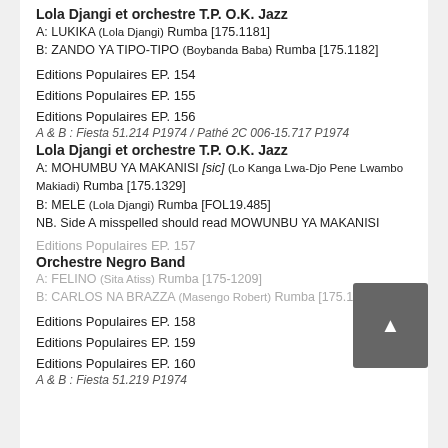Lola Djangi et orchestre T.P. O.K. Jazz
A: LUKIKA (Lola Djangi) Rumba [175.1181]
B: ZANDO YA TIPO-TIPO (Boybanda Baba) Rumba [175.1182]
Editions Populaires EP. 154
Editions Populaires EP. 155
Editions Populaires EP. 156
A & B : Fiesta 51.214 P1974 / Pathé 2C 006-15.717 P1974
Lola Djangi et orchestre T.P. O.K. Jazz
A: MOHUMBU YA MAKANISI [sic] (Lo Kanga Lwa-Djo Pene Lwambo Makiadi) Rumba [175.1329]
B: MELE (Lola Djangi) Rumba [FOL19.485]
NB. Side A misspelled should read MOWUNBU YA MAKANISI
Editions Populaires EP. 157
Orchestre Negro Band
A: FELINO (Sita Atiss) Rumba [175-1209]
B: CARLOS NA BRAZZA (Masengo Robert) Rumba [175.1212]
Editions Populaires EP. 158
Editions Populaires EP. 159
Editions Populaires EP. 160
A & B : Fiesta 51.219 P1974